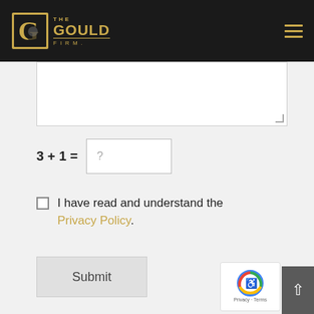[Figure (logo): The Gould Firm logo - gold G in dark square with firm name]
3 + 1 = ?
I have read and understand the Privacy Policy.
Submit